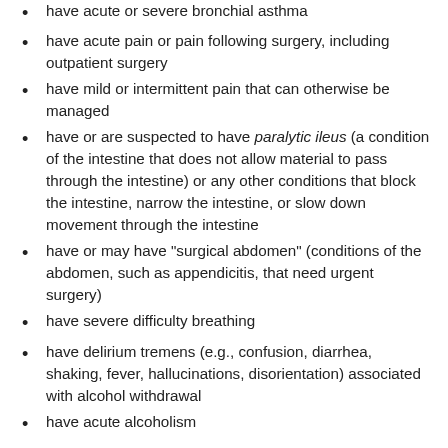have acute or severe bronchial asthma
have acute pain or pain following surgery, including outpatient surgery
have mild or intermittent pain that can otherwise be managed
have or are suspected to have paralytic ileus (a condition of the intestine that does not allow material to pass through the intestine) or any other conditions that block the intestine, narrow the intestine, or slow down movement through the intestine
have or may have "surgical abdomen" (conditions of the abdomen, such as appendicitis, that need urgent surgery)
have severe difficulty breathing
have delirium tremens (e.g., confusion, diarrhea, shaking, fever, hallucinations, disorientation) associated with alcohol withdrawal
have acute alcoholism